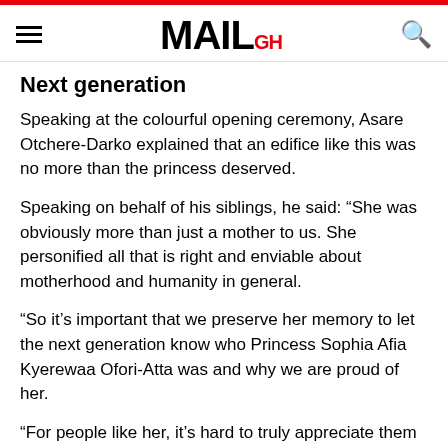Daily MAIL GH
Next generation
Speaking at the colourful opening ceremony, Asare Otchere-Darko explained that an edifice like this was no more than the princess deserved.
Speaking on behalf of his siblings, he said: “She was obviously more than just a mother to us. She personified all that is right and enviable about motherhood and humanity in general.
“So it’s important that we preserve her memory to let the next generation know who Princess Sophia Afia Kyerewaa Ofori-Atta was and why we are proud of her.
“For people like her, it’s hard to truly appreciate them for what